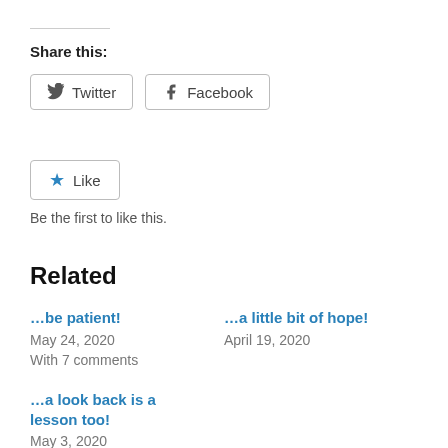Share this:
Twitter  Facebook
Like  Be the first to like this.
Related
…be patient!
May 24, 2020
With 7 comments
…a little bit of hope!
April 19, 2020
…a look back is a lesson too!
May 3, 2020